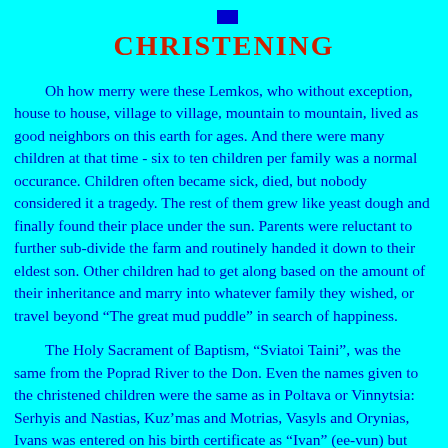[Figure (other): Small dark blue square decorative element at top center of page]
CHRISTENING
Oh how merry were these Lemkos, who without exception, house to house, village to village, mountain to mountain, lived as good neighbors on this earth for ages. And there were many children at that time - six to ten children per family was a normal occurance. Children often became sick, died, but nobody considered it a tragedy. The rest of them grew like yeast dough and finally found their place under the sun. Parents were reluctant to further sub-divide the farm and routinely handed it down to their eldest son. Other children had to get along based on the amount of their inheritance and marry into whatever family they wished, or travel beyond "The great mud puddle" in search of happiness.
The Holy Sacrament of Baptism, "Sviatoi Taini", was the same from the Poprad River to the Don. Even the names given to the christened children were the same as in Poltava or Vinnytsia: Serhyis and Nastias, Kuz’mas and Motrias, Vasyls and Orynias, Ivans was entered on his birth certificate as "Ivan" (ee-vun) but locally was referred to as "Vanio". It is possible that a christening in Lemkivshchyna, locally called "kstyny", differed in some respects from the ceremony in let’s say nearby Lviv, since Lemkos were very inventive and themselves differed in some ways from